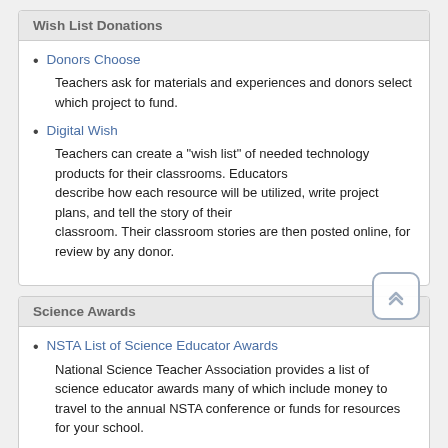Wish List Donations
Donors Choose — Teachers ask for materials and experiences and donors select which project to fund.
Digital Wish — Teachers can create a "wish list" of needed technology products for their classrooms. Educators describe how each resource will be utilized, write project plans, and tell the story of their classroom. Their classroom stories are then posted online, for review by any donor.
Science Awards
NSTA List of Science Educator Awards — National Science Teacher Association provides a list of science educator awards many of which include money to travel to the annual NSTA conference or funds for resources for your school.
Science Pioneers